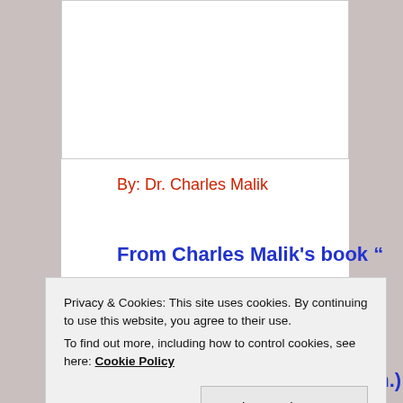[Figure (other): White rectangle image placeholder area at the top of the content column]
By: Dr. Charles Malik
From Charles Malik's book “
Privacy & Cookies: This site uses cookies. By continuing to use this website, you agree to their use.
To find out more, including how to control cookies, see here: Cookie Policy
Close and accept
University, Louaize, Lebanon.)